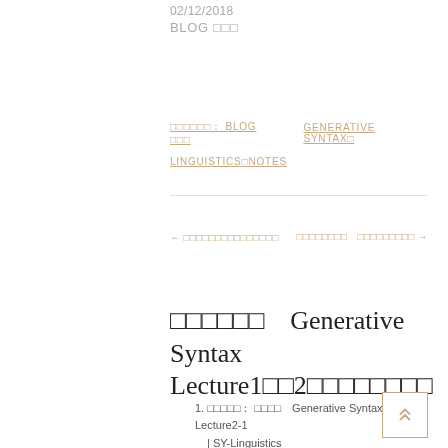02/12/2018
BLOG
カテゴリー: BLOG   GENERATIVE SYNTAX 
LINGUISTICS NOTES
← 生成文法の勉強メモ          ことばの研究者　  留学するためにすること →
まとめノート　Generative Syntax Lecture1から2までの内容まとめ
ことばの研究者: まとめノート　Generative Syntax Lecture2-1 | SY-Linguistics